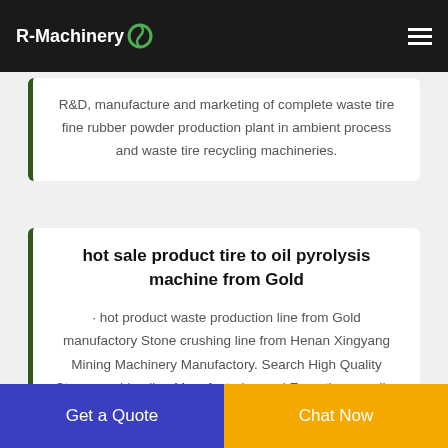R-Machinery
R&D, manufacture and marketing of complete waste tire fine rubber powder production plant in ambient process and waste tire recycling machineries.
hot sale product tire to oil pyrolysis machine from Gold
· hot product waste production line from Gold manufactory Stone crushing line from Henan Xingyang Mining Machinery Manufactory. Search High Quality Stone crushing line Manufacturing and Exporting supplier on Alibaba. Hot sale portable complex cone crushing plant, portable cone crusher
Get a Quote  Chat Now